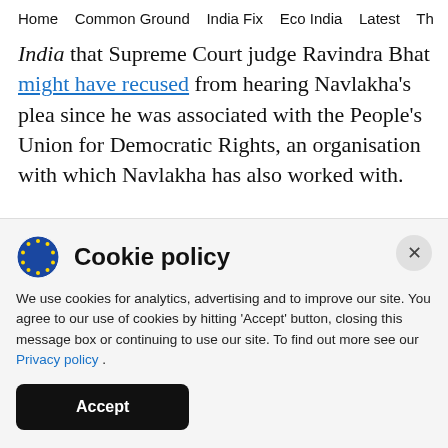Home   Common Ground   India Fix   Eco India   Latest   Th
India that Supreme Court judge Ravindra Bhat might have recused from hearing Navlakha's plea since he was associated with the People's Union for Democratic Rights, an organisation with which Navlakha has also worked with.
The power to recuse flows from the principle of natural justice that no person should be a judge in
Cookie policy
We use cookies for analytics, advertising and to improve our site. You agree to our use of cookies by hitting 'Accept' button, closing this message box or continuing to use our site. To find out more see our Privacy policy .